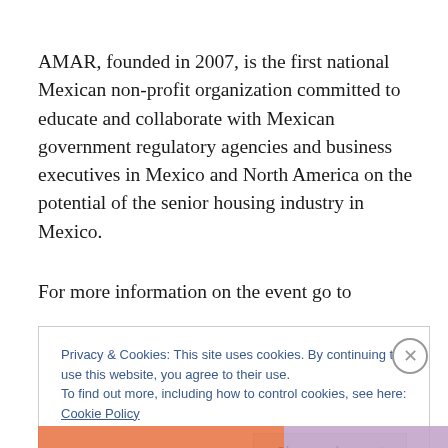AMAR, founded in 2007, is the first national Mexican non-profit organization committed to educate and collaborate with Mexican government regulatory agencies and business executives in Mexico and North America on the potential of the senior housing industry in Mexico.
For more information on the event go to
Privacy & Cookies: This site uses cookies. By continuing to use this website, you agree to their use.
To find out more, including how to control cookies, see here: Cookie Policy